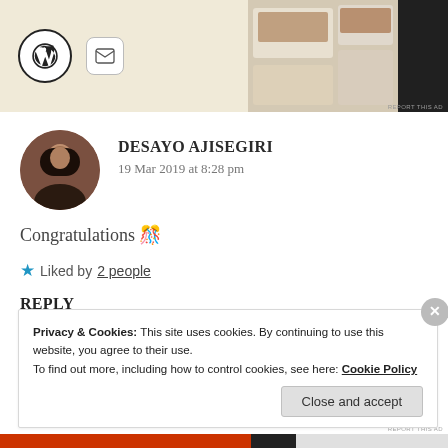[Figure (screenshot): Advertisement banner with WordPress logo, mail icon, and food menu images on beige background]
DESAYO AJISEGIRI
19 Mar 2019 at 8:28 pm
Congratulations 🎊
★ Liked by 2 people
REPLY
Privacy & Cookies: This site uses cookies. By continuing to use this website, you agree to their use.
To find out more, including how to control cookies, see here: Cookie Policy
Close and accept